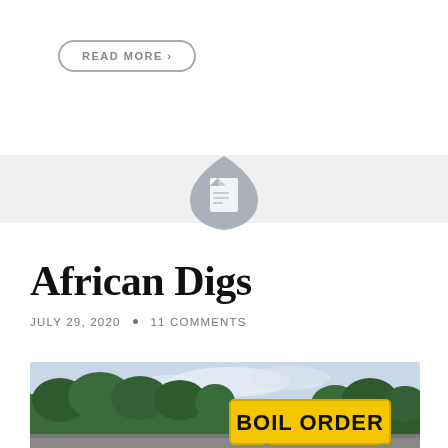READ MORE ›
[Figure (logo): DocLayNet document icon logo, gray teardrop/shield shape with white document icon inside]
African Digs
JULY 29, 2020 • 11 COMMENTS
[Figure (photo): Outdoor street scene with trees and a yellow road sign reading 'BOIL ORDER']